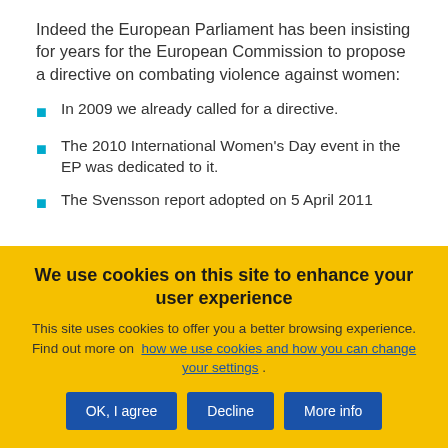Indeed the European Parliament has been insisting for years for the European Commission to propose a directive on combating violence against women:
In 2009 we already called for a directive.
The 2010 International Women's Day event in the EP was dedicated to it.
The Svensson report adopted on 5 April 2011
We use cookies on this site to enhance your user experience
This site uses cookies to offer you a better browsing experience. Find out more on how we use cookies and how you can change your settings .